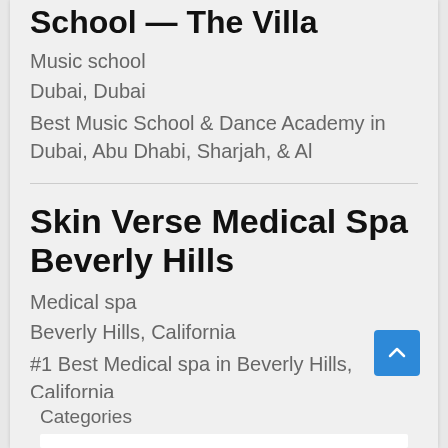School — The Villa
Music school
Dubai, Dubai
Best Music School & Dance Academy in Dubai, Abu Dhabi, Sharjah, & Al
Skin Verse Medical Spa Beverly Hills
Medical spa
Beverly Hills, California
#1 Best Medical spa in Beverly Hills, California
Categories